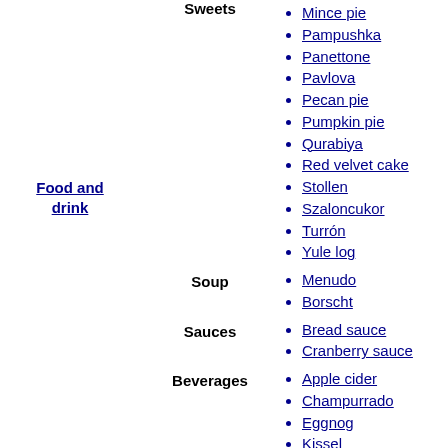Food and drink
Sweets
Mince pie
Pampushka
Panettone
Pavlova
Pecan pie
Pumpkin pie
Qurabiya
Red velvet cake
Stollen
Szaloncukor
Turrón
Yule log
Soup
Menudo
Borscht
Sauces
Bread sauce
Cranberry sauce
Beverages
Apple cider
Champurrado
Eggnog
Kissel
Mulled wine
Smoking Bishop
Ponche crema